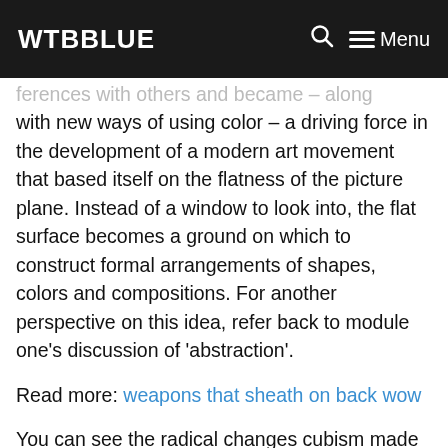WTBBLUE  🔍  ☰ Menu
ferences with others and became – along with new ways of using color – a driving force in the development of a modern art movement that based itself on the flatness of the picture plane. Instead of a window to look into, the flat surface becomes a ground on which to construct formal arrangements of shapes, colors and compositions. For another perspective on this idea, refer back to module one's discussion of 'abstraction'.
Read more: weapons that sheath on back wow
You can see the radical changes cubism made in George Braque's landscape La Roche Guyon from 1909. The trees, houses, castle and surrounding